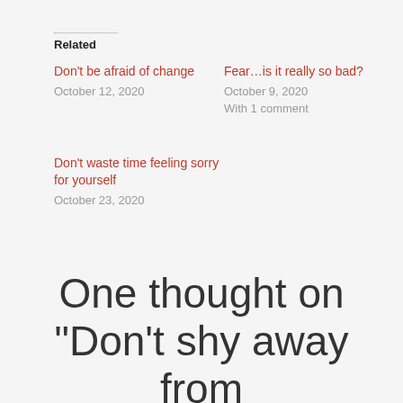Related
Don't be afraid of change
October 12, 2020
Fear...is it really so bad?
October 9, 2020
With 1 comment
Don't waste time feeling sorry for yourself
October 23, 2020
One thought on “Don’t shy away from